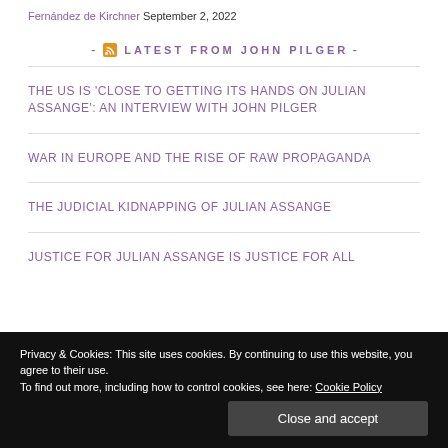Fernández de Kirchner September 2, 2022
- LATEST FROM JOHN PILGER -
THE US IS 'CLOSE TO GETTING ITS HANDS ON JULIAN ASSANGE': AN INTERVIEW WITH JOHN PILGER
WAR IN EUROPE AND THE RISE OF RAW PROPAGANDA
THE JUDICIAL KIDNAPPING OF JULIAN ASSANGE
JUSTICE FOR JULIAN ASSANGE IS JUSTICE FOR ALL
Privacy & Cookies: This site uses cookies. By continuing to use this website, you agree to their use. To find out more, including how to control cookies, see here: Cookie Policy